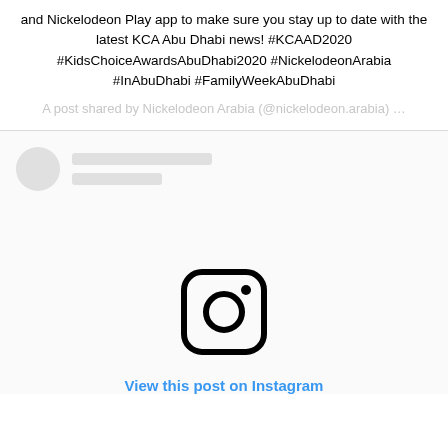and Nickelodeon Play app to make sure you stay up to date with the latest KCA Abu Dhabi news! #KCAAD2020 #KidsChoiceAwardsAbuDhabi2020 #NickelodeonArabia #InAbuDhabi #FamilyWeekAbuDhabi
A post shared by Nickelodeon Arabia (@nickelodeon.arabia) …
[Figure (screenshot): Instagram embed loading placeholder with avatar circle and grey text line placeholders, Instagram logo icon, and 'View this post on Instagram' link]